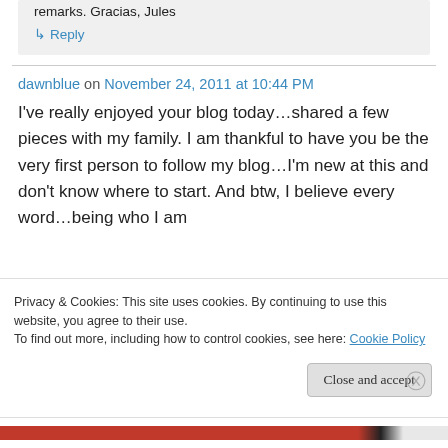remarks. Gracias, Jules
↳ Reply
dawnblue on November 24, 2011 at 10:44 PM
I've really enjoyed your blog today…shared a few pieces with my family. I am thankful to have you be the very first person to follow my blog…I'm new at this and don't know where to start. And btw, I believe every word…being who I am
Privacy & Cookies: This site uses cookies. By continuing to use this website, you agree to their use.
To find out more, including how to control cookies, see here: Cookie Policy
Close and accept